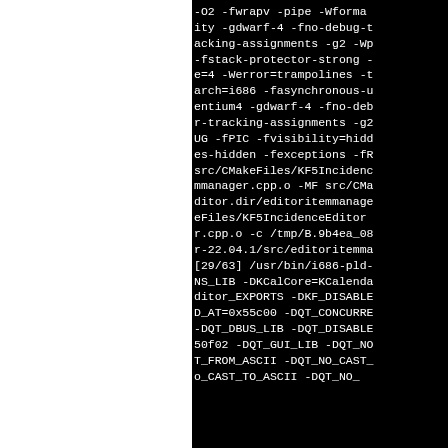-O2 -fwrapv -pipe -Wformat-security -gdwarf-4 -fno-debug-types-section -fstack-protector-strong -fasynchronous-unwind-tables -fstack-clash-protection -Werror=trampolines -march=i686 -fasynchronous-unwind-tables -march=pentium4 -gdwarf-4 -fno-debug-types-section -fvar-tracking-assignments -g2 -fexceptions -DNDEBUG -DQT_NO_DEBUG -fPIC -fvisibility=hidden -fvisibility-inlines-hidden -fexceptions -fR src/CMakeFiles/KF5IncidenceEditor.dir/editoritemmanager.cpp.o -MF src/CMakeFiles/KF5IncidenceEditor.dir/editoritemmanager.cpp.o -c /tmp/B.9b4ea_08... r-22.04.1/src/editoritemmanager... [29/63] /usr/bin/i686-pld-linux-gnueabi... NS_LIB -DKCalCore=KCalendarCore -DKF5IncidenceEditor_EXPORTS -DKF_DISABLE_DEPRECATED_BEFORE_AND_AT=0x55c00 -DQT_CONCURRENT_LIB -DQT_DBUS_LIB -DQT_DISABLE_DEPRECATED_BEFORE_AND_AT=0x50f02 -DQT_GUI_LIB -DQT_NO_CAST_FROM_ASCII -DQT_NO_CAST... o_CAST_TO_ASCII -DQT_NO_...